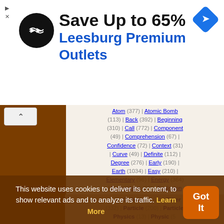[Figure (infographic): Advertisement banner: black circle logo with arrows icon, text 'Save Up to 65%' and 'Leesburg Premium Outlets' in blue, navigation diamond icon top right. Small close/skip controls top left.]
Atom (377) | Atomic Bomb (113) | Back (392) | Beginning (310) | Call (772) | Component (49) | Comprehension (67) | Confidence (72) | Context (31) | Curve (49) | Definite (112) | Degree (276) | Early (190) | Earth (1034) | Easy (210) | Elementary (96) | Energy (364) | Everywhere (96) | Explosion (48) | Fact (1236) | Finite (60) | High (365) | Hot (60) | Hottest (2) | Hundred (231) | Infinite (236) | Matter (810) | Mean (808) | Million (120) | Modern (392) | Molecule (181) | More (2559) | Nuclear (109) | Nuclear Physics (6) | Nucleus (54) | Ordinary (162) | Other (332) | Particle (200) | Particle Physics (13) | Physic (5) | Possibility (167) | So-Called (71) | Space (518) | Speak (235) | Sphere (116) | Star (448) | Subject (532)
This website uses cookies to deliver its content, to show relevant ads and to analyze its traffic. Learn More
[Figure (infographic): Orange 'Got It' button bottom right]